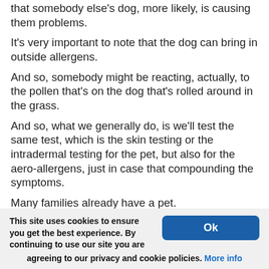that somebody else's dog, more likely, is causing them problems.
It's very important to note that the dog can bring in outside allergens.
And so, somebody might be reacting, actually, to the pollen that's on the dog that's rolled around in the grass.
And so, what we generally do, is we'll test the same test, which is the skin testing or the intradermal testing for the pet, but also for the aero-allergens, just in case that compounding the symptoms.
Many families already have a pet.
And so, generally, in those cases, we will work around the fact that there is a pet in the home and try to limit the amount of dander exposure
This site uses cookies to ensure you get the best experience. By continuing to use our site you are agreeing to our privacy and cookie policies. More info